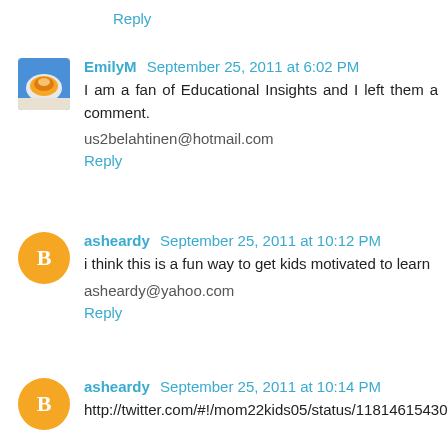Reply
EmilyM September 25, 2011 at 6:02 PM
I am a fan of Educational Insights and I left them a comment.
us2belahtinen@hotmail.com
Reply
asheardy September 25, 2011 at 10:12 PM
i think this is a fun way to get kids motivated to learn
asheardy@yahoo.com
Reply
asheardy September 25, 2011 at 10:14 PM
http://twitter.com/#!/mom22kids05/status/11814615430216